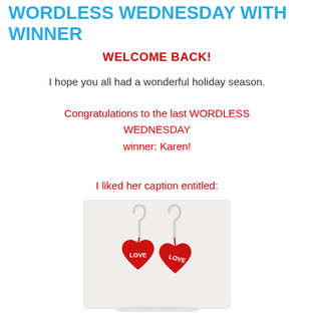WORDLESS WEDNESDAY WITH WINNER
WELCOME BACK!
I hope you all had a wonderful holiday season.
Congratulations to the last WORDLESS WEDNESDAY winner: Karen!
I liked her caption entitled:
[Figure (photo): Two red heart-shaped earrings with hook backs, each inscribed with LOVE in white text, on a light gray background]